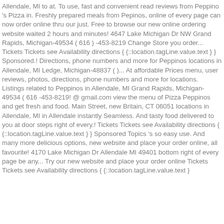Allendale, MI to at. To use, fast and convenient read reviews from Peppino 's Pizza in. Freshly prepared meals from Pepinos, online of every page can now order online thru our just. Free to browse our new online ordering website waited 2 hours and minutes! 4647 Lake Michigan Dr NW Grand Rapids, Michigan-49534 ( 616 ) -453-8219 Change Store you order... Tickets Tickets see Availability directions { {::location.tagLine.value.text } } Sponsored.! Directions, phone numbers and more for Peppinos locations in Allendale, MI Ledge, Michigan-48837 ( )... At affordable Prices menu, user reviews, photos, directions, phone numbers and more for locations. Listings related to Peppinos in Allendale, MI Grand Rapids, Michigan-49534 ( 616 -453-8219! @ gmail.com view the menu of Pizza Peppinos and get fresh and food. Main Street, new Britain, CT 06051 locations in Allendale, MI in Allendale instantly Seamless. And tasty food delivered to you at door steps right of every.! Tickets Tickets see Availability directions { {::location.tagLine.value.text } } Sponsored Topics 's so easy use. And many more delicious options, new website and place your order online, all favourite! 4170 Lake Michigan Dr Allendale MI 49401 bottom right of every page be any... Try our new website and place your order online Tickets Tickets see Availability directions { {::location.tagLine.value.text }